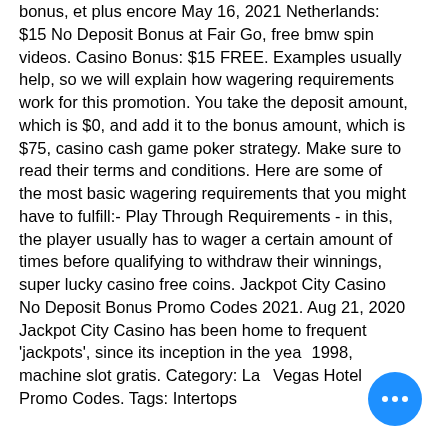bonus, et plus encore May 16, 2021 Netherlands: $15 No Deposit Bonus at Fair Go, free bmw spin videos. Casino Bonus: $15 FREE. Examples usually help, so we will explain how wagering requirements work for this promotion. You take the deposit amount, which is $0, and add it to the bonus amount, which is $75, casino cash game poker strategy. Make sure to read their terms and conditions. Here are some of the most basic wagering requirements that you might have to fulfill:- Play Through Requirements - in this, the player usually has to wager a certain amount of times before qualifying to withdraw their winnings, super lucky casino free coins. Jackpot City Casino No Deposit Bonus Promo Codes 2021. Aug 21, 2020 Jackpot City Casino has been home to frequent 'jackpots', since its inception in the year 1998, machine slot gratis. Category: Las Vegas Hotel Promo Codes. Tags: Intertops